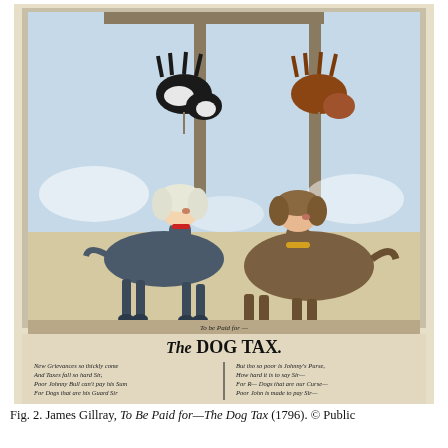[Figure (illustration): A colored satirical cartoon by James Gillray titled 'The Dog Tax' (1796). The image shows two dogs with human heads standing and looking upward at two other dogs (one black-and-white, one brown) hanging upside down on a gallows-like frame in the background. Below the illustration is decorative script text reading 'The DOG TAX.' with verse text in two columns beneath. The left verse reads: 'New Grievances so thickly come / And Taxes fall so hard Sir, / Poor Johnny Bull can't pay his Sum / For Dogs that are his Guard Sir' and the right verse reads: 'But tho so poor is Johnny's Purse, / How hard it is to say Sir— / For R— Dogs that are our Curse— / Poor John is made to pay Sir—'. The image is printed on an aged cream/beige paper background.]
Fig. 2. James Gillray, To Be Paid for—The Dog Tax (1796). © Public